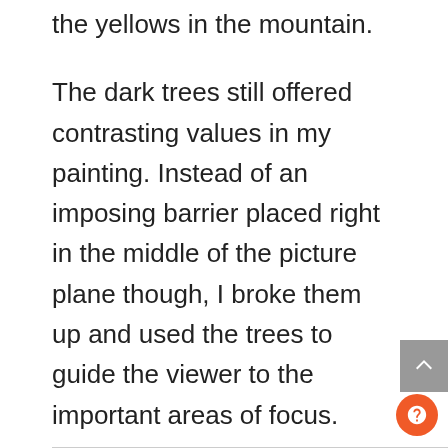the yellows in the mountain.
The dark trees still offered contrasting values in my painting. Instead of an imposing barrier placed right in the middle of the picture plane though, I broke them up and used the trees to guide the viewer to the important areas of focus.
The Zigzag & S-Curve Techniques